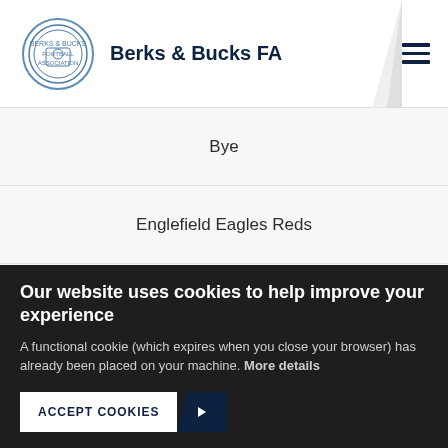Berks & Bucks FA
Bye
Englefield Eagles Reds
Bye
FC Harmanswater First
Our website uses cookies to help improve your experience
A functional cookie (which expires when you close your browser) has already been placed on your machine. More details
ACCEPT COOKIES